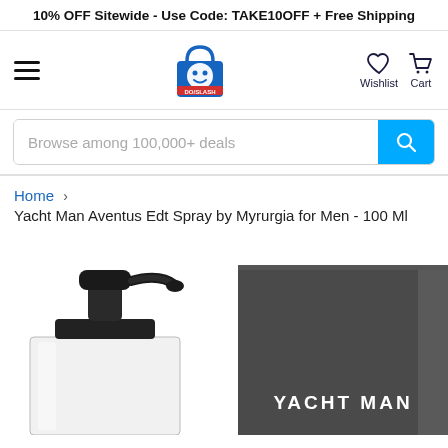10% OFF Sitewide - Use Code: TAKE10OFF + Free Shipping
[Figure (logo): GoSlash shopping bag logo with robot face, blue bag]
Wishlist
Cart
Browse among 100,000+ deals
Home > Yacht Man Aventus Edt Spray by Myrurgia for Men - 100 Ml
[Figure (photo): Yacht Man Aventus cologne bottle with black pump cap alongside dark grey product box with YACHT MAN text in white]